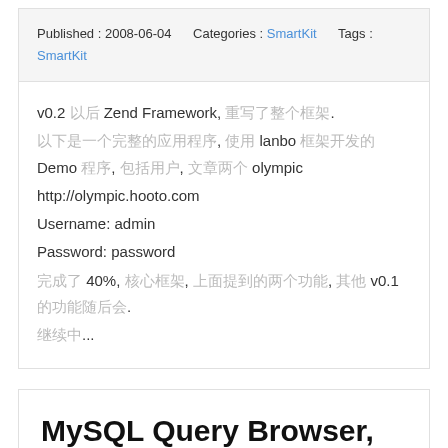Published : 2008-06-04    Categories : SmartKit    Tags : SmartKit
v0.2 以后 Zend Framework, 重写了整个框架.
以下是一个完整的应用程序, 使用 lanbo 框架开发的 Demo 程序, 包括用户, 文章两个 olympic
http://olympic.hooto.com
Username: admin
Password: password
完成了 40%, 核心框架, 上面提到的两个功能, 其他 v0.1 的功能随后会.
继续中...
MySQL Query Browser, Official GUI tool to query MySQL